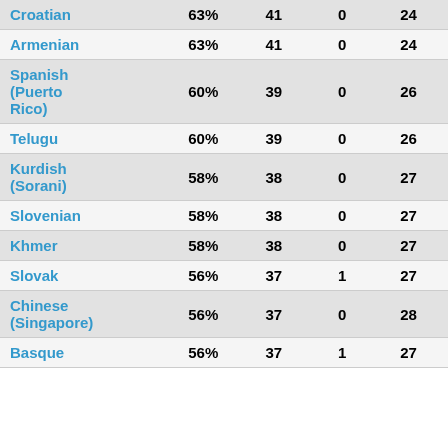| Language | % | Count1 | Count2 | Count3 |
| --- | --- | --- | --- | --- |
| Croatian | 63% | 41 | 0 | 24 |
| Armenian | 63% | 41 | 0 | 24 |
| Spanish (Puerto Rico) | 60% | 39 | 0 | 26 |
| Telugu | 60% | 39 | 0 | 26 |
| Kurdish (Sorani) | 58% | 38 | 0 | 27 |
| Slovenian | 58% | 38 | 0 | 27 |
| Khmer | 58% | 38 | 0 | 27 |
| Slovak | 56% | 37 | 1 | 27 |
| Chinese (Singapore) | 56% | 37 | 0 | 28 |
| Basque | 56% | 37 | 1 | 27 |